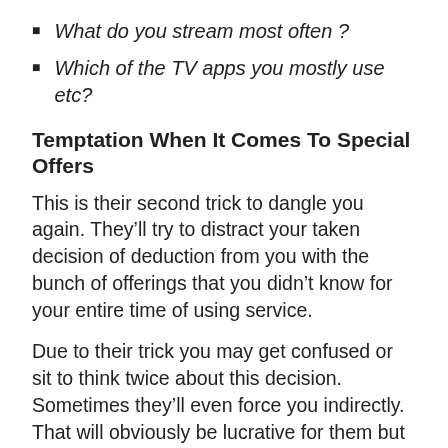What do you stream most often ?
Which of the TV apps you mostly use etc?
Temptation When It Comes To Special Offers
This is their second trick to dangle you again. They’ll try to distract your taken decision of deduction from you with the bunch of offerings that you didn’t know for your entire time of using service.
Due to their trick you may get confused or sit to think twice about this decision. Sometimes they’ll even force you indirectly. That will obviously be lucrative for them but not for you. That perhaps charges you more than the past.
Hold On
When attentions are think that their trick can also help